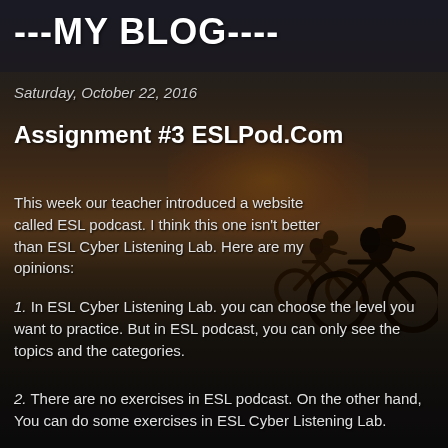---MY BLOG----
Saturday, October 22, 2016
Assignment #3 ESLPod.Com
This week our teacher introduced a website called ESL podcast.  I think this one isn't better than ESL Cyber Listening Lab.  Here are my opinions:
1. In ESL Cyber Listening Lab.  you can choose the level you want to practice.  But in ESL podcast, you can only see the topics and the categories.
2. There are no exercises in ESL podcast. On the other hand, You can do some exercises in ESL Cyber Listening Lab.